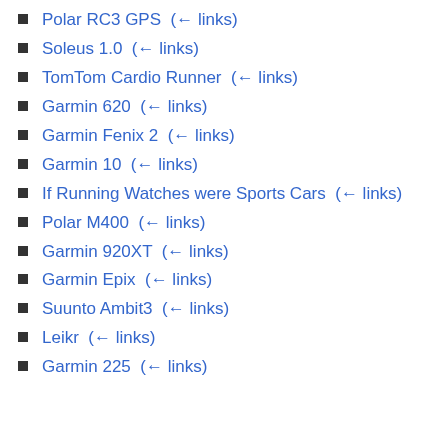Polar RC3 GPS  (← links)
Soleus 1.0  (← links)
TomTom Cardio Runner  (← links)
Garmin 620  (← links)
Garmin Fenix 2  (← links)
Garmin 10  (← links)
If Running Watches were Sports Cars  (← links)
Polar M400  (← links)
Garmin 920XT  (← links)
Garmin Epix  (← links)
Suunto Ambit3  (← links)
Leikr  (← links)
Garmin 225  (← links)